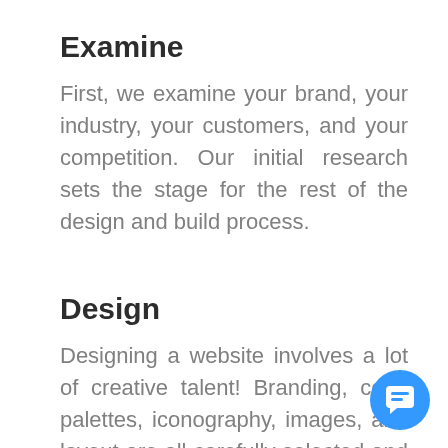Examine
First, we examine your brand, your industry, your customers, and your competition. Our initial research sets the stage for the rest of the design and build process.
Design
Designing a website involves a lot of creative talent! Branding, color palettes, iconography, images, and layout are all carefully selected and a
[Figure (illustration): Blue circular chat button with speech bubble icon in bottom right corner]